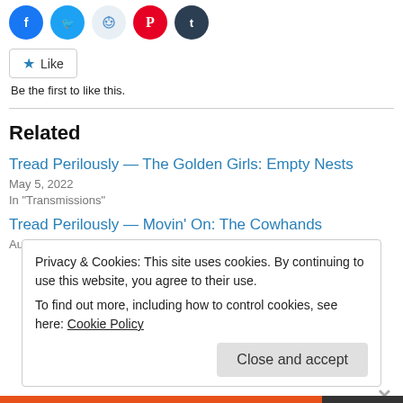[Figure (other): Social media share buttons: Facebook (blue), Twitter (cyan), Reddit (light blue/gray), Pinterest (red), Tumblr (dark blue-gray) — circular icons]
Like
Be the first to like this.
Related
Tread Perilously — The Golden Girls: Empty Nests
May 5, 2022
In "Transmissions"
Tread Perilously — Movin' On: The Cowhands
August 11, 2022
Privacy & Cookies: This site uses cookies. By continuing to use this website, you agree to their use.
To find out more, including how to control cookies, see here: Cookie Policy
Close and accept